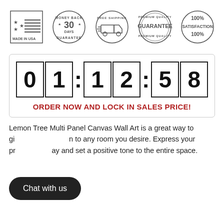[Figure (illustration): Five trust/quality badge icons in a row: Made in USA (flag with stars), 30 Days Money Back Guarantee, Free Shipping (truck in circle), Premium Quality Guarantee, 100% Satisfaction 100%]
[Figure (infographic): Countdown timer showing 01:12:58 with each digit in a bordered box]
ORDER NOW AND LOCK IN SALES PRICE!
Lemon Tree Multi Panel Canvas Wall Art is a great way to gi [Chat with us] n to any room you desire. Express your pr [Chat with us] ay and set a positive tone to the entire space.